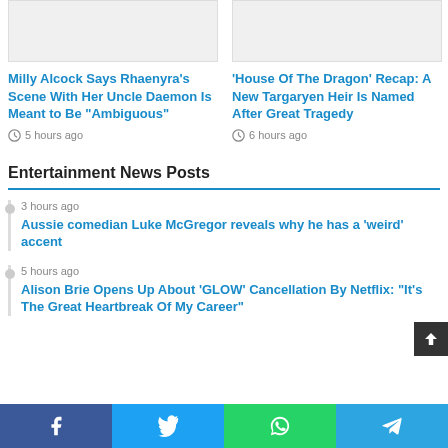[Figure (photo): Placeholder image (light gray) for Milly Alcock article]
[Figure (photo): Placeholder image (light gray) for House of the Dragon article]
Milly Alcock Says Rhaenyra’s Scene With Her Uncle Daemon Is Meant to Be “Ambiguous”
5 hours ago
‘House Of The Dragon’ Recap: A New Targaryen Heir Is Named After Great Tragedy
6 hours ago
Entertainment News Posts
3 hours ago
Aussie comedian Luke McGregor reveals why he has a ‘weird’ accent
5 hours ago
Alison Brie Opens Up About ‘GLOW’ Cancellation By Netflix: “It’s The Great Heartbreak Of My Career”